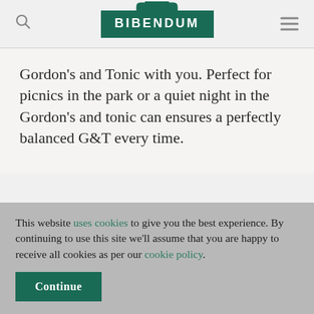[Figure (logo): Bibendum brand logo — white uppercase BIBENDUM text on a dark green rectangular background with a decorative arch/pediment shape on top]
Gordon's and Tonic with you. Perfect for picnics in the park or a quiet night in the Gordon's and tonic can ensures a perfectly balanced G&T every time.
This website uses cookies to give you the best experience. By continuing to use this site we'll assume that you are happy to receive all cookies as per our cookie policy.